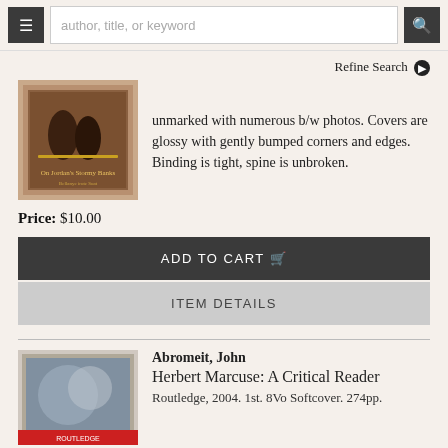[Figure (screenshot): Navigation bar with hamburger menu icon, search text input placeholder 'author, title, or keyword', and search button]
Refine Search ▶
[Figure (photo): Thumbnail of book cover 'On Jordan's Stormy Banks']
unmarked with numerous b/w photos. Covers are glossy with gently bumped corners and edges. Binding is tight, spine is unbroken.
Price: $10.00
ADD TO CART 🛒
ITEM DETAILS
[Figure (photo): Thumbnail of book cover for Herbert Marcuse: A Critical Reader]
Abromeit, John
Herbert Marcuse: A Critical Reader
Routledge, 2004. 1st. 8Vo Softcover. 274pp.